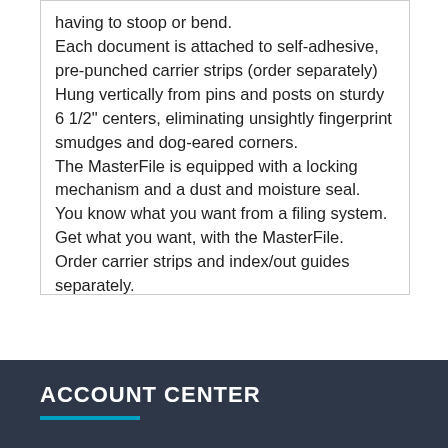having to stoop or bend.
Each document is attached to self-adhesive, pre-punched carrier strips (order separately)
Hung vertically from pins and posts on sturdy 6 1/2" centers, eliminating unsightly fingerprint smudges and dog-eared corners.
The MasterFile is equipped with a locking mechanism and a dust and moisture seal.
You know what you want from a filing system.
Get what you want, with the MasterFile.
Order carrier strips and index/out guides separately.
Limited Lifetime Warranty.
ACCOUNT CENTER